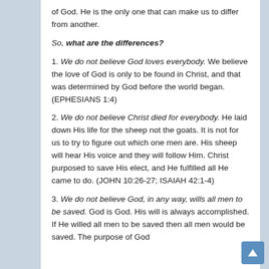of God. He is the only one that can make us to differ from another.
So, what are the differences?
1. We do not believe God loves everybody. We believe the love of God is only to be found in Christ, and that was determined by God before the world began. (EPHESIANS 1:4)
2. We do not believe Christ died for everybody. He laid down His life for the sheep not the goats. It is not for us to try to figure out which one men are. His sheep will hear His voice and they will follow Him. Christ purposed to save His elect, and He fulfilled all He came to do. (JOHN 10:26-27; ISAIAH 42:1-4)
3. We do not believe God, in any way, wills all men to be saved. God is God. His will is always accomplished. If He willed all men to be saved then all men would be saved. The purpose of God